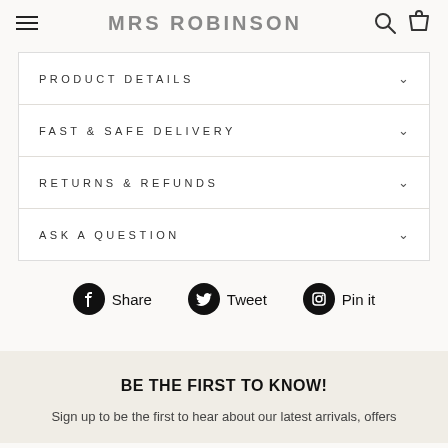MRS ROBINSON
PRODUCT DETAILS
FAST & SAFE DELIVERY
RETURNS & REFUNDS
ASK A QUESTION
Share   Tweet   Pin it
BE THE FIRST TO KNOW!
Sign up to be the first to hear about our latest arrivals, offers